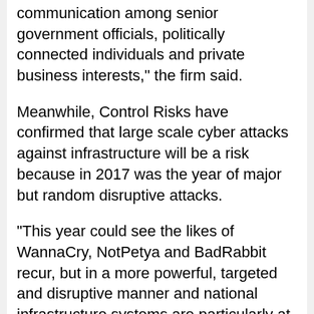communication among senior government officials, politically connected individuals and private business interests," the firm said.
Meanwhile, Control Risks have confirmed that large scale cyber attacks against infrastructure will be a risk because in 2017 was the year of major but random disruptive attacks.
“This year could see the likes of WannaCry, NotPetya and BadRabbit recur, but in a more powerful, targeted and disruptive manner and national infrastructure systems are particularly at risk, ” they added.
Meanwhile, the firm is of the view that new threats will affect Mozambique where major final investment decision has been taken on liquefied natural gas projects in northern Mozambique, signaling a likely increase in foreign investment.
The African continent, businesses might see the negative impact of a potential renewed debt